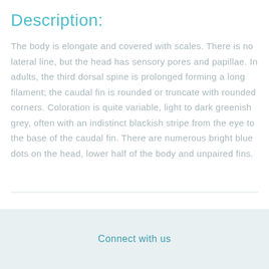Description:
The body is elongate and covered with scales. There is no lateral line, but the head has sensory pores and papillae. In adults, the third dorsal spine is prolonged forming a long filament; the caudal fin is rounded or truncate with rounded corners. Coloration is quite variable, light to dark greenish grey, often with an indistinct blackish stripe from the eye to the base of the caudal fin. There are numerous bright blue dots on the head, lower half of the body and unpaired fins.
Connect with us